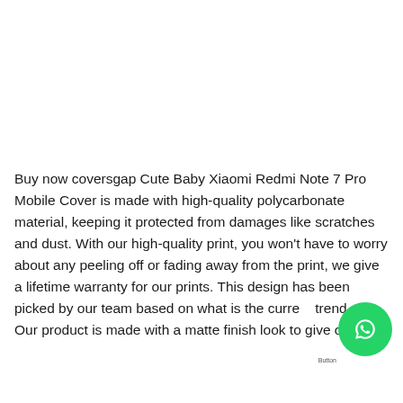Buy now coversgap Cute Baby Xiaomi Redmi Note 7 Pro Mobile Cover is made with high-quality polycarbonate material, keeping it protected from damages like scratches and dust. With our high-quality print, you won’t have to worry about any peeling off or fading away from the print, we give a lifetime warranty for our prints. This design has been picked by our team based on what is the current trend.
Our product is made with a matte finish look to give out an classy...